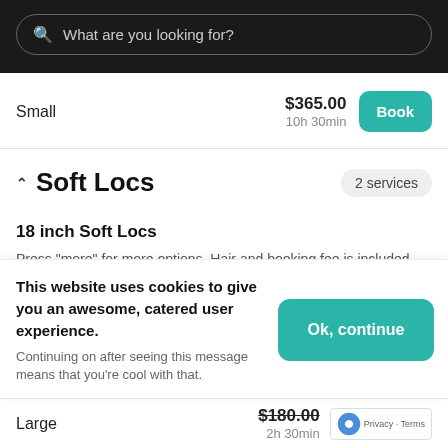What are you looking for?
Small   $365.00   10h 30min   Book
^ Soft Locs   2 services
18 inch Soft Locs
Press "more" for more options. Hair and booking fee is included in price.
This website uses cookies to give you an awesome, catered user experience. Continuing on after seeing this message means that you're cool with that.   Ok, continue
Large   $180.00   2h 30min
Privacy · Terms